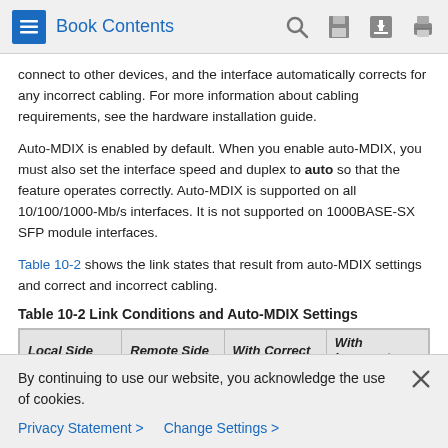Book Contents
connect to other devices, and the interface automatically corrects for any incorrect cabling. For more information about cabling requirements, see the hardware installation guide.
Auto-MDIX is enabled by default. When you enable auto-MDIX, you must also set the interface speed and duplex to auto so that the feature operates correctly. Auto-MDIX is supported on all 10/100/1000-Mb/s interfaces. It is not supported on 1000BASE-SX SFP module interfaces.
Table 10-2 shows the link states that result from auto-MDIX settings and correct and incorrect cabling.
Table 10-2 Link Conditions and Auto-MDIX Settings
| Local Side | Remote Side | With Correct | With Incorrect |
| --- | --- | --- | --- |